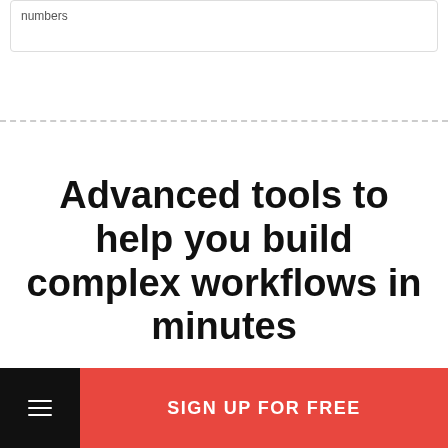numbers
Advanced tools to help you build complex workflows in minutes
SIGN UP FOR FREE